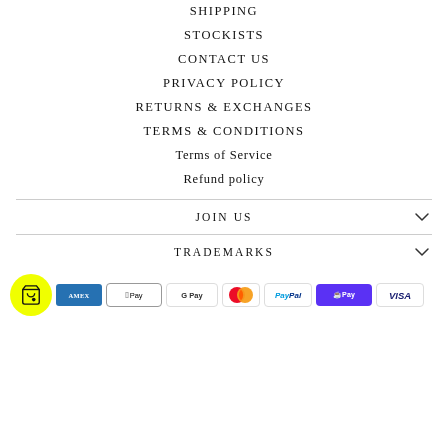SHIPPING
STOCKISTS
CONTACT US
PRIVACY POLICY
RETURNS & EXCHANGES
TERMS & CONDITIONS
Terms of Service
Refund policy
JOIN US
TRADEMARKS
[Figure (infographic): Payment method icons: American Express, Apple Pay, Google Pay, Mastercard, PayPal, Shop Pay, Visa; with yellow cart bubble icon]